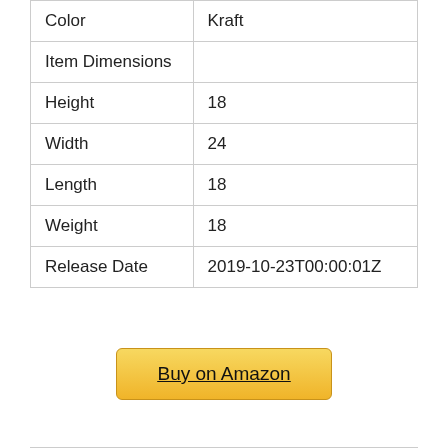| Color | Kraft |
| Item Dimensions |  |
| Height | 18 |
| Width | 24 |
| Length | 18 |
| Weight | 18 |
| Release Date | 2019-10-23T00:00:01Z |
Buy on Amazon